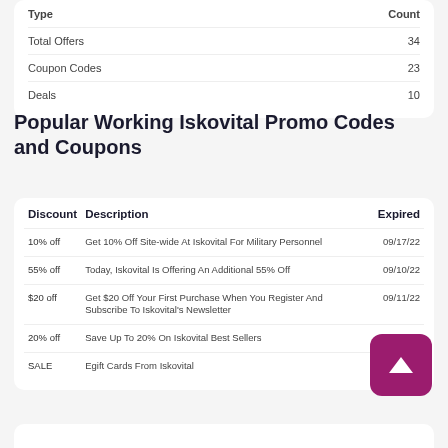| Type | Count |
| --- | --- |
| Total Offers | 34 |
| Coupon Codes | 23 |
| Deals | 10 |
Popular Working Iskovital Promo Codes and Coupons
| Discount | Description | Expired |
| --- | --- | --- |
| 10% off | Get 10% Off Site-wide At Iskovital For Military Personnel | 09/17/22 |
| 55% off | Today, Iskovital Is Offering An Additional 55% Off | 09/10/22 |
| $20 off | Get $20 Off Your First Purchase When You Register And Subscribe To Iskovital's Newsletter | 09/11/22 |
| 20% off | Save Up To 20% On Iskovital Best Sellers | 09/04/22 |
| SALE | Egift Cards From Iskovital |  |